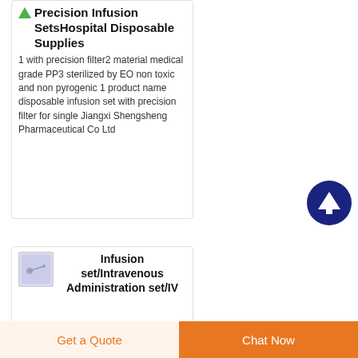Precision Infusion SetsHospital Disposable Supplies
1 with precision filter2 material medical grade PP3 sterilized by EO non toxic and non pyrogenic 1 product name disposable infusion set with precision filter for single Jiangxi Shengsheng Pharmaceutical Co Ltd
Infusion set/Intravenous Administration set/IV
Get a Quote
Chat Now